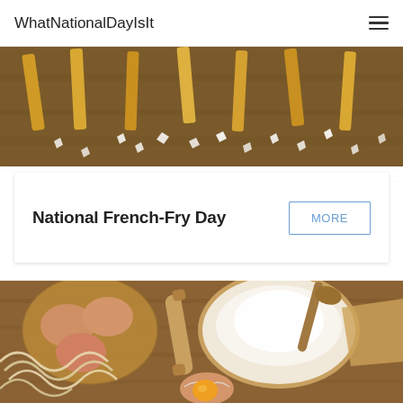WhatNationalDayIsIt
[Figure (photo): Close-up photo of french fries (elongated potato sticks) with coarse sea salt crystals scattered on a wooden surface]
National French-Fry Day
MORE
[Figure (photo): Overhead photo of baking ingredients on a wooden table: eggs in a basket, flour in a bowl with a wooden spoon, a rolling pin, uncooked pasta noodles, and a cracked egg with yolk visible]